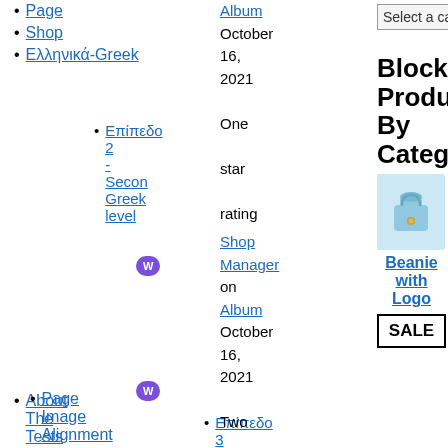Page
Shop
Ελληνικά-Greek
Επίπεδο 2 - Second Greek level
Επίπεδο 3
About The Tests
Page Image Alignment
Page
Album
October 16, 2021
One star rating
Shop Manager on Album
October 16, 2021
Two star rating
Shop Manager
Select a category
Block Products By Category
[Figure (illustration): Light blue beanie/bag product image]
Beanie with Logo
SALE